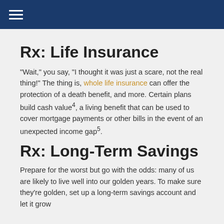☰
Rx: Life Insurance
“Wait,” you say, “I thought it was just a scare, not the real thing!” The thing is, whole life insurance can offer the protection of a death benefit, and more. Certain plans build cash value⁴, a living benefit that can be used to cover mortgage payments or other bills in the event of an unexpected income gap⁵.
Rx: Long-Term Savings
Prepare for the worst but go with the odds: many of us are likely to live well into our golden years. To make sure they’re golden, set up a long-term savings account and let it grow